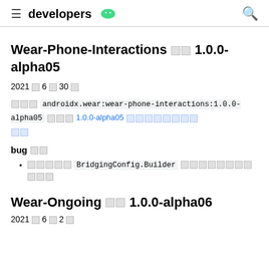developers [android logo]
Wear-Phone-Interactions 버전 1.0.0-alpha05
2021년 6월 30일
버전 androidx.wear:wear-phone-interactions:1.0.0-alpha05 포함 1.0.0-alpha05 변경사항 참고
bug 수정
수정됨 BridgingConfig.Builder 문서의 오류를 수정합니다
Wear-Ongoing 버전 1.0.0-alpha06
2021년 6월 2일